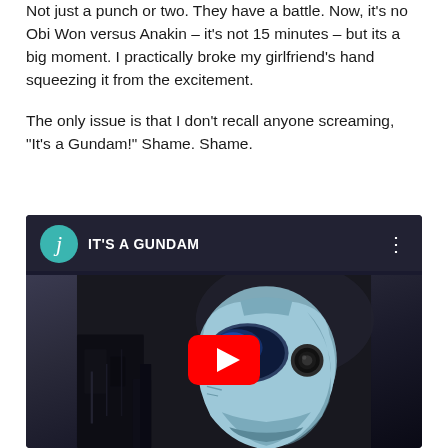Not just a punch or two. They have a battle. Now, it's no Obi Won versus Anakin – it's not 15 minutes – but its a big moment. I practically broke my girlfriend's hand squeezing it from the excitement.
The only issue is that I don't recall anyone screaming, “It's a Gundam!” Shame. Shame.
[Figure (screenshot): YouTube video embed with teal avatar showing letter 'j', title 'IT'S A GUNDAM', three-dot menu, and a thumbnail showing an anime Gundam robot head with a red YouTube play button overlay]